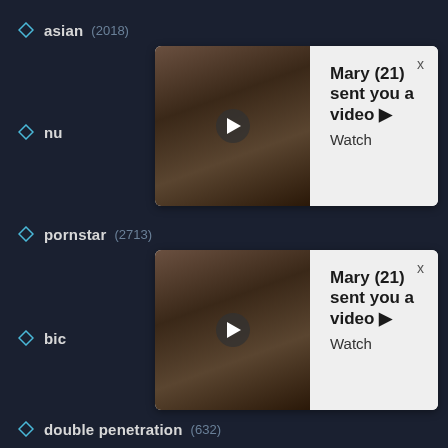asian (2018)
[Figure (screenshot): Notification popup: Mary (21) sent you a video. Watch. With thumbnail image.]
nu[de] (partially obscured)
pornstar (2713)
[Figure (screenshot): Second notification popup: Mary (21) sent you a video. Watch. With thumbnail image.]
big[...] (partially obscured)
double penetration (632)
tranny (1207)
pussy eating (1418)
czech (750)
wife (3755)